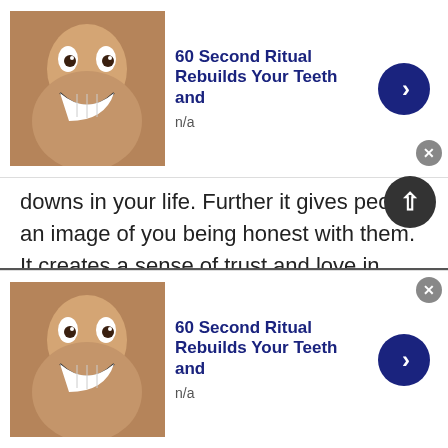[Figure (screenshot): Top advertisement banner: thumbnail of man with wide grin, title '60 Second Ritual Rebuilds Your Teeth and', text 'n/a', blue arrow button, gray close button]
downs in your life. Further it gives people an image of you being honest with them. It creates a sense of trust and love in another person's mind for you. Hence increasing your attractivity.
5. Be easy on personal details:
Suppose you are talking to a random girl in Turkmenistan. You should be mindful of the fact that females in Turkmenistan will stay reluctant to share
[Figure (screenshot): Bottom advertisement banner: thumbnail of man with wide grin, title '60 Second Ritual Rebuilds Your Teeth and', text 'n/a', blue arrow button, gray close button]